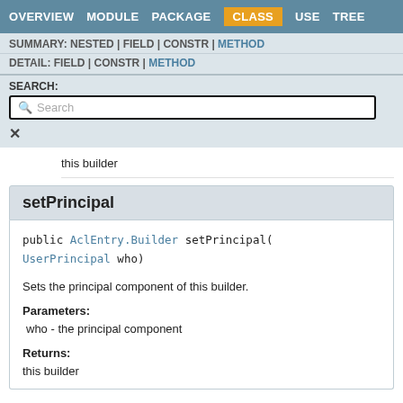OVERVIEW | MODULE | PACKAGE | CLASS | USE | TREE
SUMMARY: NESTED | FIELD | CONSTR | METHOD
DETAIL: FIELD | CONSTR | METHOD
this builder
setPrincipal
public AclEntry.Builder setPrincipal(UserPrincipal who)
Sets the principal component of this builder.
Parameters:
who - the principal component
Returns:
this builder